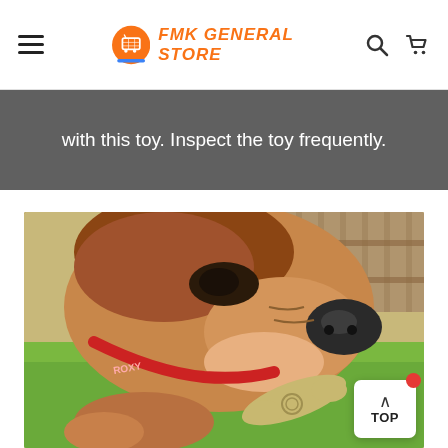FMK GENERAL STORE
with this toy. Inspect the toy frequently.
[Figure (photo): Close-up photo of a dog named Roxy (wearing a red collar) chewing on a toy while lying on grass outdoors.]